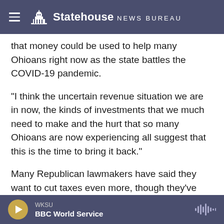Statehouse News Bureau
that money could be used to help many Ohioans right now as the state battles the COVID-19 pandemic.
"I think the uncertain revenue situation we are in now, the kinds of investments that we much need to make and the hurt that so many Ohioans are now experiencing all suggest that this is the time to bring it back."
Many Republican lawmakers have said they want to cut taxes even more, though they've also expressed concern about the damage from the pandemic done to small businesses that were
WKSU | BBC World Service